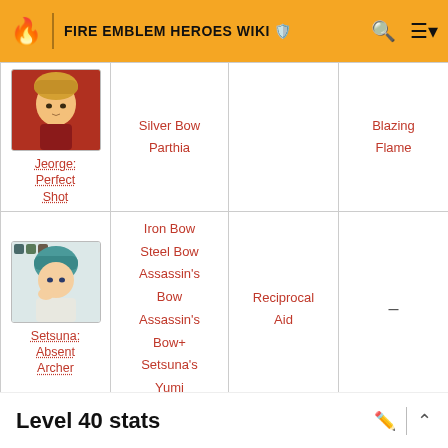FIRE EMBLEM HEROES WIKI
| Hero | Weapons | Assist | Special |
| --- | --- | --- | --- |
| Jeorge: Perfect Shot | Silver Bow
Parthia |  | Blazing Flame |
| Setsuna: Absent Archer | Iron Bow
Steel Bow
Assassin's Bow
Assassin's Bow+
Setsuna's Yumi | Reciprocal Aid | — |
Level 40 stats